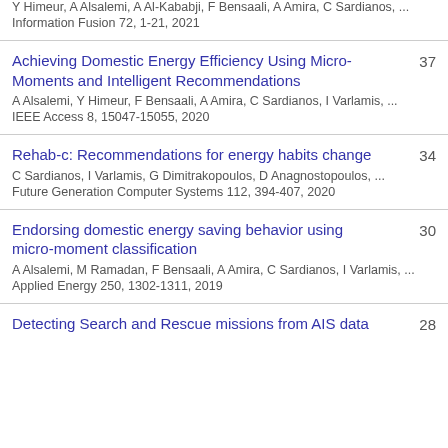Y Himeur, A Alsalemi, A Al-Kababji, F Bensaali, A Amira, C Sardianos, ...
Information Fusion 72, 1-21, 2021
Achieving Domestic Energy Efficiency Using Micro-Moments and Intelligent Recommendations
A Alsalemi, Y Himeur, F Bensaali, A Amira, C Sardianos, I Varlamis, ...
IEEE Access 8, 15047-15055, 2020
37
Rehab-c: Recommendations for energy habits change
C Sardianos, I Varlamis, G Dimitrakopoulos, D Anagnostopoulos, ...
Future Generation Computer Systems 112, 394-407, 2020
34
Endorsing domestic energy saving behavior using micro-moment classification
A Alsalemi, M Ramadan, F Bensaali, A Amira, C Sardianos, I Varlamis, ...
Applied Energy 250, 1302-1311, 2019
30
Detecting Search and Rescue missions from AIS data
28